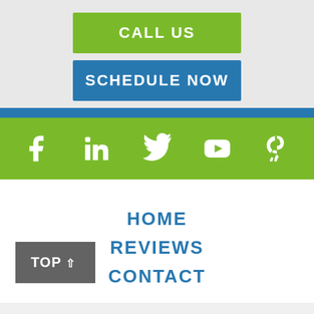CALL US
SCHEDULE NOW
[Figure (infographic): Social media icons row: Facebook, LinkedIn, Twitter, YouTube, Yelp on a green background]
HOME
REVIEWS
CONTACT
TOP ^